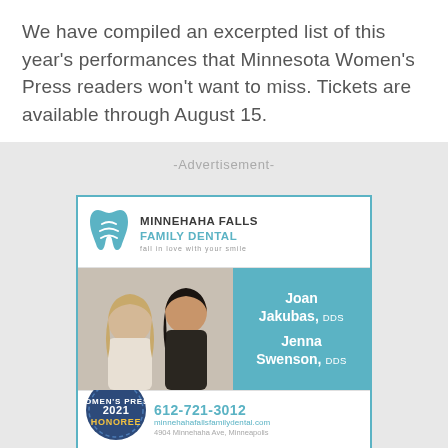We have compiled an excerpted list of this year's performances that Minnesota Women's Press readers won't want to miss. Tickets are available through August 15.
-Advertisement-
[Figure (illustration): Advertisement for Minnehaha Falls Family Dental featuring a tooth logo, two female dentists (Joan Jakubas DDS and Jenna Swenson DDS), contact info 612-721-3012, website minnehahafallsfamilydental.com, and a 2021 Honoree badge. Tagline: fall in love with your smile.]